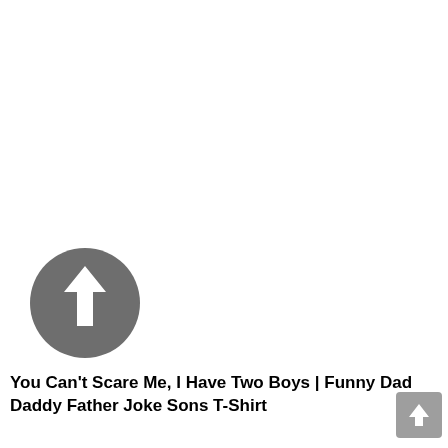[Figure (illustration): A dark grey circle with a white upward-pointing arrow icon in the center (scroll-to-top button)]
You Can't Scare Me, I Have Two Boys | Funny Dad Daddy Father Joke Sons T-Shirt
[Figure (illustration): A grey rounded-square scroll-to-top button with a white upward chevron arrow, positioned in the bottom-right corner]